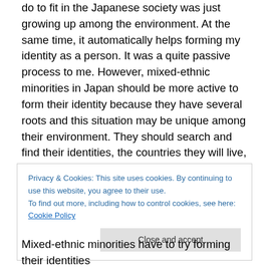do to fit in the Japanese society was just growing up among the environment. At the same time, it automatically helps forming my identity as a person. It was a quite passive process to me. However, mixed-ethnic minorities in Japan should be more active to form their identity because they have several roots and this situation may be unique among their environment. They should search and find their identities, the countries they will live, the way to interpret who they are and so on. Moreover, if they are hybrid of different skin colors, they might not be seen as “Japanese” even if they decided to live more like
Privacy & Cookies: This site uses cookies. By continuing to use this website, you agree to their use.
To find out more, including how to control cookies, see here: Cookie Policy
Close and accept
Mixed-ethnic minorities have to try forming their identities